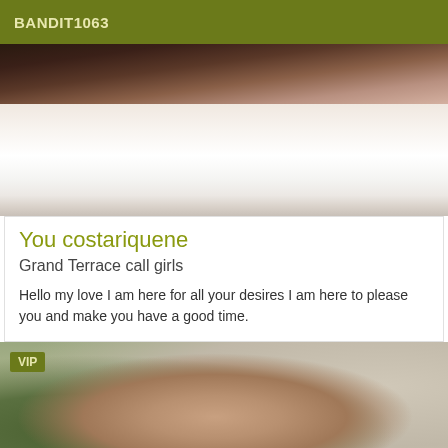BANDIT1063
[Figure (photo): Partial photo of a person lying on white bedding, seen from above]
You costariquene
Grand Terrace call girls
Hello my love I am here for all your desires I am here to please you and make you have a good time.
[Figure (photo): Photo of a young woman indoors, with plants and a framed picture in the background, VIP badge overlay]